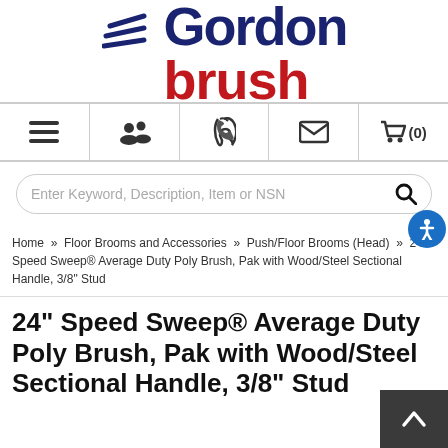[Figure (logo): Gordon Brush logo with navy blue 'Gordon' text, red 'brush' text, and blue wing/stripe graphic element on the left]
[Figure (screenshot): Navigation bar with hamburger menu, people/account icon, phone icon, envelope/mail icon, and shopping cart with (0) count]
[Figure (screenshot): Search bar with placeholder text 'Enter Keyword, Description, Item or NSN' and magnifying glass icon]
Home » Floor Brooms and Accessories » Push/Floor Brooms (Head) » 24" Speed Sweep® Average Duty Poly Brush, Pak with Wood/Steel Sectional Handle, 3/8" Stud
24" Speed Sweep® Average Duty Poly Brush, Pak with Wood/Steel Sectional Handle, 3/8" Stud